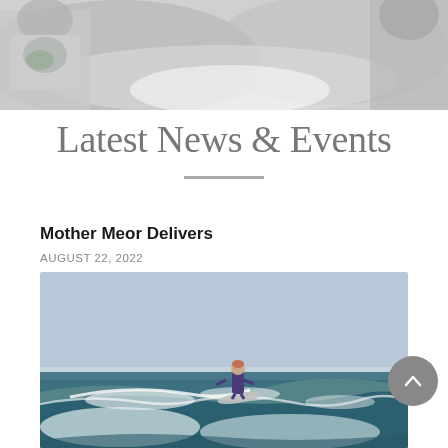[Figure (photo): Top banner photo showing people at what appears to be a water/beach activity, slightly muted/faded]
Latest News & Events
Mother Meor Delivers
AUGUST 22, 2022
[Figure (photo): Photo of a surfer riding a wave on the ocean under a clear blue sky]